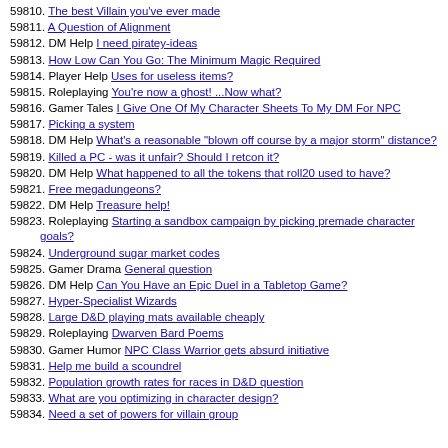59810. The best Villain you've ever made
59811. A Question of Alignment
59812. DM Help I need piratey-ideas
59813. How Low Can You Go: The Minimum Magic Required
59814. Player Help Uses for useless items?
59815. Roleplaying You're now a ghost! ...Now what?
59816. Gamer Tales I Give One Of My Character Sheets To My DM For NPC
59817. Picking a system
59818. DM Help What's a reasonable "blown off course by a major storm" distance?
59819. Killed a PC - was it unfair? Should I retcon it?
59820. DM Help What happened to all the tokens that roll20 used to have?
59821. Free megadungeons?
59822. DM Help Treasure help!
59823. Roleplaying Starting a sandbox campaign by picking premade character goals?
59824. Underground sugar market codes
59825. Gamer Drama General question
59826. DM Help Can You Have an Epic Duel in a Tabletop Game?
59827. Hyper-Specialist Wizards
59828. Large D&D playing mats available cheaply
59829. Roleplaying Dwarven Bard Poems
59830. Gamer Humor NPC Class Warrior gets absurd initiative
59831. Help me build a scoundrel
59832. Population growth rates for races in D&D question
59833. What are you optimizing in character design?
59834. Need a set of powers for villain group